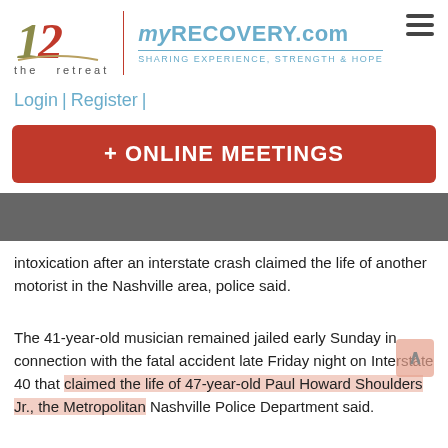[Figure (logo): The Retreat logo with stylized '12' in olive/red and the text 'the retreat' below, paired with myRECOVERY.com and tagline 'SHARING EXPERIENCE, STRENGTH & HOPE']
Login | Register |
+ ONLINE MEETINGS
intoxication after an interstate crash claimed the life of another motorist in the Nashville area, police said.
The 41-year-old musician remained jailed early Sunday in connection with the fatal accident late Friday night on Interstate 40 that claimed the life of 47-year-old Paul Howard Shoulders Jr., the Metropolitan Nashville Police Department said.